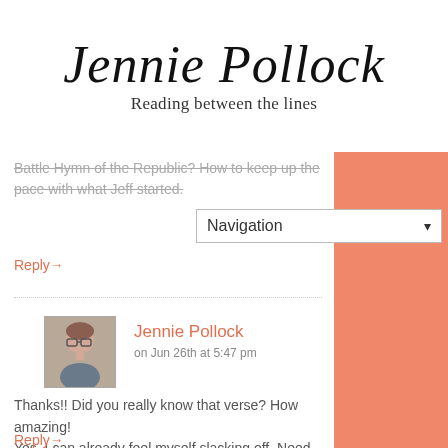Jennie Pollock
Reading between the lines
Battle Hymn of the Republic? How to keep up the pace with what Jeff started.
Reply→
Jennie Pollock
on Jun 26th at 5:47 pm
Thanks!! Did you really know that verse? How amazing!
Yes, I can already feel myself slacking off. Need to put a proper (sustainable) schedule in place, to trick my brain into thinking in a writing-y way!
Reply→